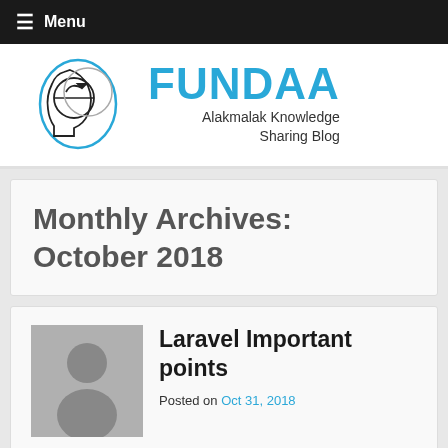≡ Menu
[Figure (logo): FUNDAA Alakmalak Knowledge Sharing Blog logo with brain/head illustration]
Monthly Archives: October 2018
Laravel Important points
Posted on Oct 31, 2018